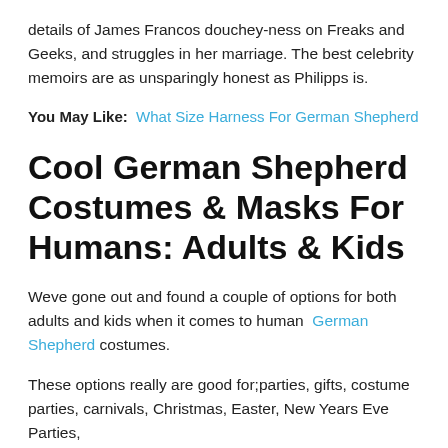details of James Francos douchey-ness on Freaks and Geeks, and struggles in her marriage. The best celebrity memoirs are as unsparingly honest as Philipps is.
You May Like: What Size Harness For German Shepherd
Cool German Shepherd Costumes & Masks For Humans: Adults & Kids
Weve gone out and found a couple of options for both adults and kids when it comes to human German Shepherd costumes.
These options really are good for;parties, gifts, costume parties, carnivals, Christmas, Easter, New Years Eve Parties,